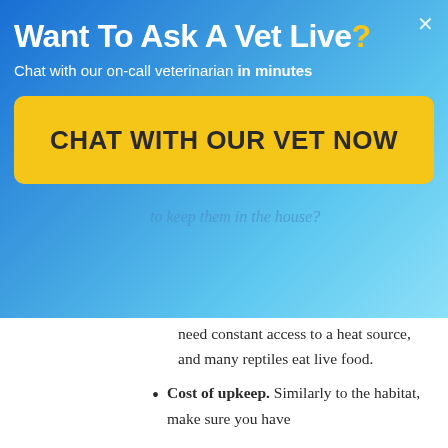Want To Ask A Vet Live?
Chat with our on-call veterinarian in minutes
CHAT WITH OUR VET NOW
to keep them in the house?
Think about what the animal needs to be comfortable, and make sure you can provide it. Cold-blooded creatures will need constant access to a heat source, and many reptiles eat live food.
Cost of upkeep. Similarly to the habitat, make sure you have